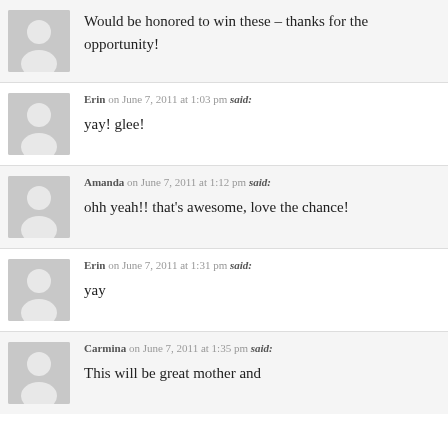Would be honored to win these – thanks for the opportunity!
Erin on June 7, 2011 at 1:03 pm said: yay! glee!
Amanda on June 7, 2011 at 1:12 pm said: ohh yeah!! that's awesome, love the chance!
Erin on June 7, 2011 at 1:31 pm said: yay
Carmina on June 7, 2011 at 1:35 pm said: This will be great mother and